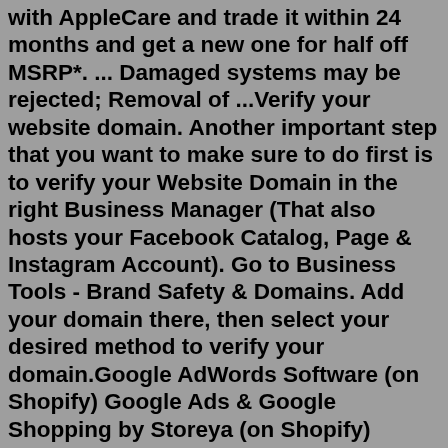with AppleCare and trade it within 24 months and get a new one for half off MSRP*. ... Damaged systems may be rejected; Removal of ...Verify your website domain. Another important step that you want to make sure to do first is to verify your Website Domain in the right Business Manager (That also hosts your Facebook Catalog, Page & Instagram Account). Go to Business Tools - Brand Safety & Domains. Add your domain there, then select your desired method to verify your domain.Google AdWords Software (on Shopify) Google Ads & Google Shopping by Storeya (on Shopify) AdScale (on Shopify) Conclusion. if you are just getting started with adwords, and you have an ecommerce store (Shopify or Bigcommerce), Clever may be a great solution for helping get started with adwords. Consider giving them a shot!To access your shop's settings, click on your shop's link from your page's menu and then click on the setting wheel icon to get the following menu options. Click the wheel icon to access settings for your shop. The Copy Direct Link option gives you a link to your Facebook